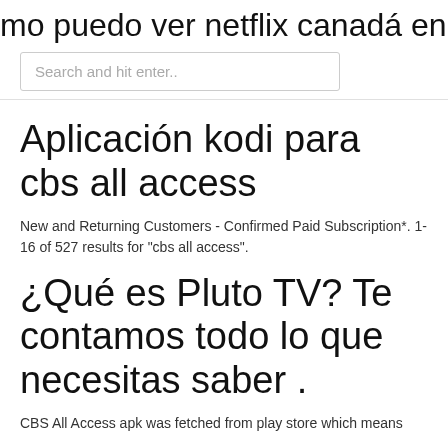mo puedo ver netflix canadá en noso
Search and hit enter..
Aplicación kodi para cbs all access
New and Returning Customers - Confirmed Paid Subscription*. 1-16 of 527 results for "cbs all access".
¿Qué es Pluto TV? Te contamos todo lo que necesitas saber .
CBS All Access apk was fetched from play store which means